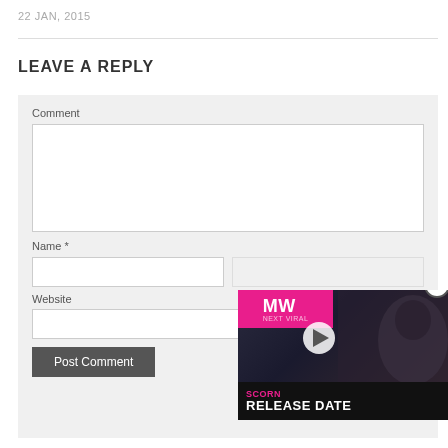22 JAN, 2015
LEAVE A REPLY
Comment
Name *
Website
Post Comment
[Figure (screenshot): Ad overlay for SCORN RELEASE DATE video thumbnail with MW logo and play button]